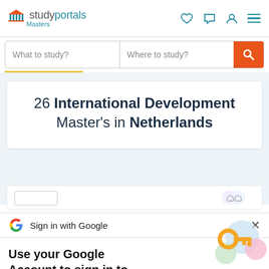studyportals Masters
What to study? | Where to study?
26 International Development Master's in Netherlands
[Figure (screenshot): Sign in with Google bar with Google G icon and close X button]
Use your Google Account to sign in to StudyPortals
No more passwords to remember. Signing in is fast, simple and secure.
[Figure (illustration): Colorful illustration of a golden key with blue, green, and pink circular elements]